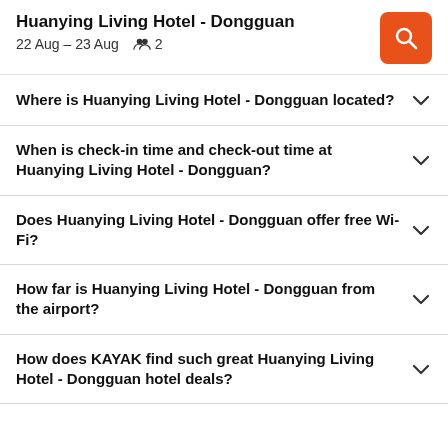Huanying Living Hotel - Dongguan
22 Aug – 23 Aug  2
Where is Huanying Living Hotel - Dongguan located?
When is check-in time and check-out time at Huanying Living Hotel - Dongguan?
Does Huanying Living Hotel - Dongguan offer free Wi-Fi?
How far is Huanying Living Hotel - Dongguan from the airport?
How does KAYAK find such great Huanying Living Hotel - Dongguan hotel deals?